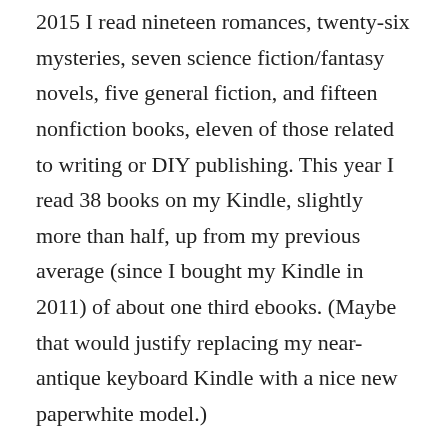2015 I read nineteen romances, twenty-six mysteries, seven science fiction/fantasy novels, five general fiction, and fifteen nonfiction books, eleven of those related to writing or DIY publishing. This year I read 38 books on my Kindle, slightly more than half, up from my previous average (since I bought my Kindle in 2011) of about one third ebooks. (Maybe that would justify replacing my near-antique keyboard Kindle with a nice new paperwhite model.)
I must have been lucky or cautious in my choice of reading material: Goodreads tells me that my average rating was 4.4 stars, and I do try to rate and review what I read. I also know what goes into writing a novel, so perhaps I'm inclined to be generous.